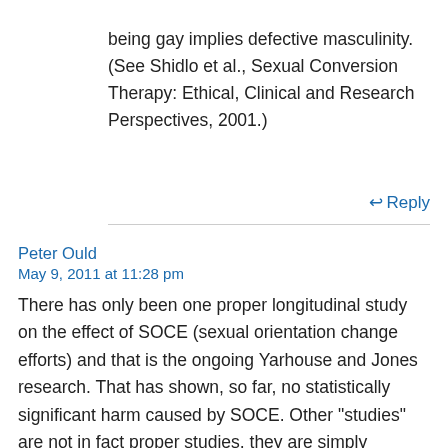being gay implies defective masculinity. (See Shidlo et al., Sexual Conversion Therapy: Ethical, Clinical and Research Perspectives, 2001.)
↩ Reply
Peter Ould
May 9, 2011 at 11:28 pm
There has only been one proper longitudinal study on the effect of SOCE (sexual orientation change efforts) and that is the ongoing Yarhouse and Jones research. That has shown, so far, no statistically significant harm caused by SOCE. Other "studies" are not in fact proper studies, they are simply amalgamations of anecdotal references and that includes Shidlo et al. If you want to argue that Shidlo et al is authoritative then you need to also accept the success of SOCE on the basis of